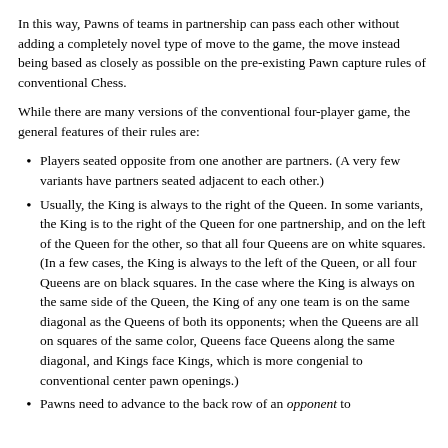In this way, Pawns of teams in partnership can pass each other without adding a completely novel type of move to the game, the move instead being based as closely as possible on the pre-existing Pawn capture rules of conventional Chess.
While there are many versions of the conventional four-player game, the general features of their rules are:
Players seated opposite from one another are partners. (A very few variants have partners seated adjacent to each other.)
Usually, the King is always to the right of the Queen. In some variants, the King is to the right of the Queen for one partnership, and on the left of the Queen for the other, so that all four Queens are on white squares. (In a few cases, the King is always to the left of the Queen, or all four Queens are on black squares. In the case where the King is always on the same side of the Queen, the King of any one team is on the same diagonal as the Queens of both its opponents; when the Queens are all on squares of the same color, Queens face Queens along the same diagonal, and Kings face Kings, which is more congenial to conventional center pawn openings.)
Pawns need to advance to the back row of an opponent to